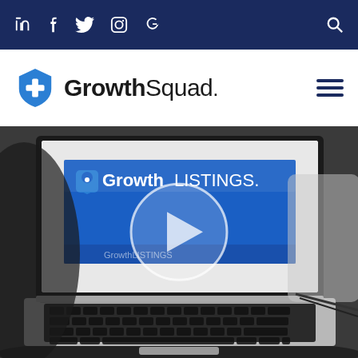Social media icons: LinkedIn, Facebook, Twitter, Instagram, Google | Search
[Figure (logo): GrowthSquad logo with blue plus-shield icon and wordmark 'GrowthSquad.' with hamburger menu icon on right]
[Figure (screenshot): Laptop showing GrowthLISTINGS branded screen with a circular play button overlay in the center, suggesting a video thumbnail]